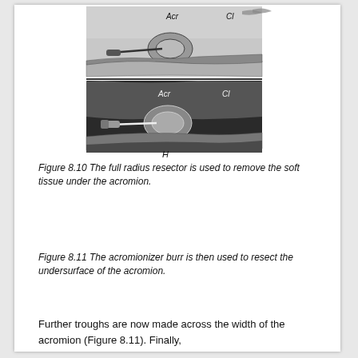[Figure (illustration): Two anatomical illustrations showing surgical views of the shoulder with acromion (Acr), clavicle (Cl), and humerus (H) labeled. Top image shows the full radius resector removing soft tissue under the acromion. Bottom image shows the acromionizer burr being used to resect the undersurface of the acromion.]
Figure 8.10 The full radius resector is used to remove the soft tissue under the acromion.
Figure 8.11 The acromionizer burr is then used to resect the undersurface of the acromion.
Further troughs are now made across the width of the acromion (Figure 8.11). Finally,